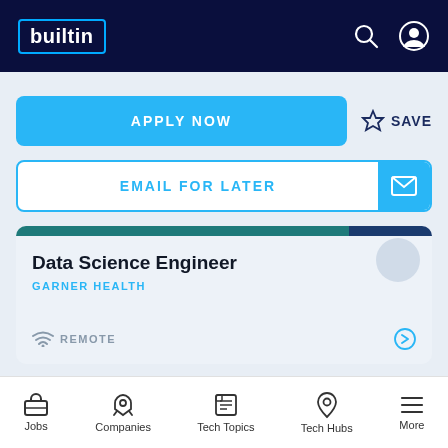builtin
APPLY NOW
SAVE
EMAIL FOR LATER
Data Science Engineer
GARNER HEALTH
REMOTE
DATA + ANALYTICS
Jobs  Companies  Tech Topics  Tech Hubs  More